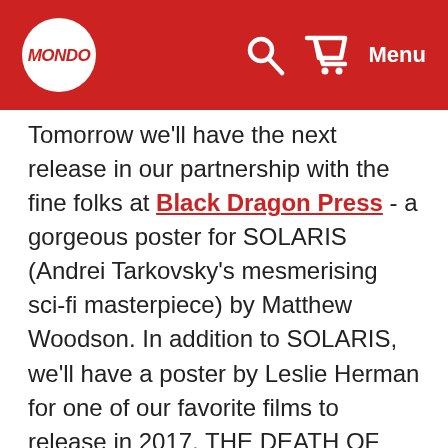Mondo [logo] | Search | Cart | Menu
Tomorrow we'll have the next release in our partnership with the fine folks at Black Dragon Press - a gorgeous poster for SOLARIS (Andrei Tarkovsky's mesmerising sci-fi masterpiece) by Matthew Woodson. In addition to SOLARIS, we'll have a poster by Leslie Herman for one of our favorite films to release in 2017, THE DEATH OF STALIN. The film is a biting political satire/slightly exaggerated true story that focuses on the immediate aftermath of Joseph Stalin's death as his colleagues fumble around to determine who will assume the now vacant seat of power. Leslie's art is striking, bold and - like the film - very funny. If you haven't seen the film, do your